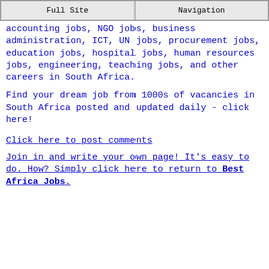Full Site | Navigation
accounting jobs, NGO jobs, business administration, ICT, UN jobs, procurement jobs, education jobs, hospital jobs, human resources jobs, engineering, teaching jobs, and other careers in South Africa.
Find your dream job from 1000s of vacancies in South Africa posted and updated daily - click here!
Click here to post comments
Join in and write your own page! It's easy to do. How? Simply click here to return to Best Africa Jobs.